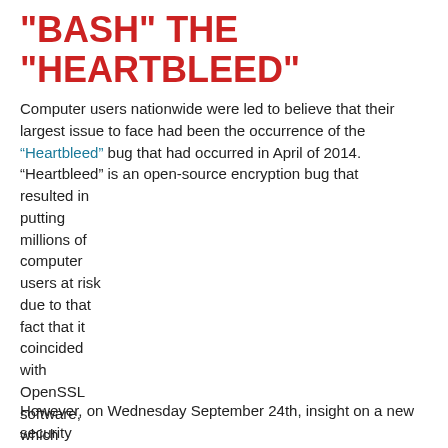"BASH" THE "HEARTBLEED"
Computer users nationwide were led to believe that their largest issue to face had been the occurrence of the “Heartbleed” bug that had occurred in April of 2014. “Heartbleed” is an open-source encryption bug that resulted in putting millions of computer users at risk due to that fact that it coincided with OpenSSL software, which is utilized in about two-thirds of the sites found on the web.
However, on Wednesday September 24th, insight on a new security